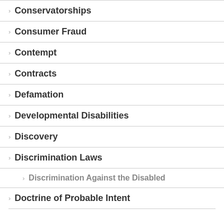Conservatorships
Consumer Fraud
Contempt
Contracts
Defamation
Developmental Disabilities
Discovery
Discrimination Laws
Discrimination Against the Disabled
Doctrine of Probable Intent